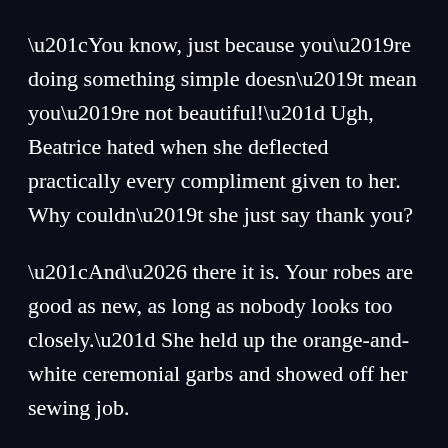“You know, just because you’re doing something simple doesn’t mean you’re not beautiful!” Ugh, Beatrice hated when she deflected practically every compliment given to her. Why couldn’t she just say thank you?
“And… there it is. Your robes are good as new, as long as nobody looks too closely.” She held up the orange-and-white ceremonial garbs and showed off her sewing job.
See, Beatrice was almost always careful, but after practice today she was walking home when